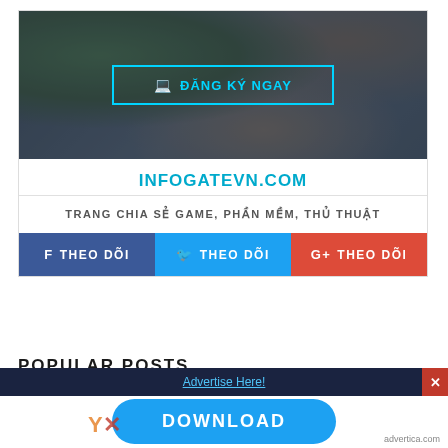[Figure (screenshot): Banner image of a desk with a plant, glasses, notebook, and a hand writing. Overlay with a cyan-bordered button labeled 'ĐĂNG KÝ NGAY' (Register Now) with a laptop icon.]
INFOGATEVN.COM
TRANG CHIA SẺ GAME, PHẦN MỀM, THỦ THUẬT
f  THEO DÕI
🐦  THEO DÕI
G+  THEO DÕI
POPULAR POSTS
[Figure (screenshot): Dark blue advertisement bar with 'Advertise Here!' link and a red X close button, and a blue rounded DOWNLOAD button below it.]